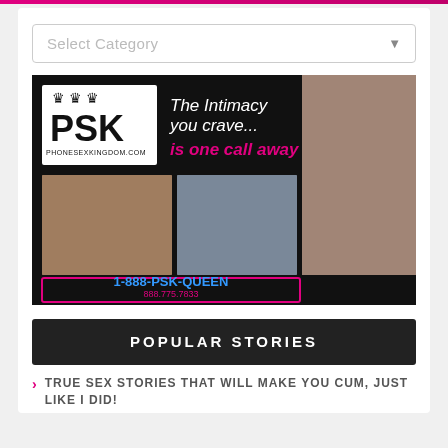Select Category
[Figure (advertisement): PSK Phone Sex Kingdom advertisement. Shows PSK logo with crowns, tagline 'The Intimacy you crave... is one call away', photos of women, and phone number 1-888-PSK-QUEEN / 888.775.7833]
POPULAR STORIES
TRUE SEX STORIES THAT WILL MAKE YOU CUM, JUST LIKE I DID!